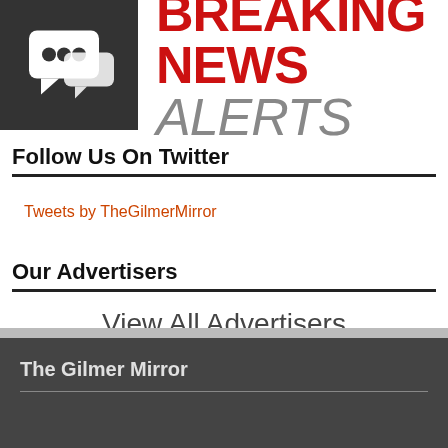[Figure (logo): Breaking News Alerts logo: dark box with speech bubble icons on left, red bold BREAKING text, red bold NEWS and gray italic ALERTS on right]
Follow Us On Twitter
Tweets by TheGilmerMirror
Our Advertisers
View All Advertisers
The Gilmer Mirror